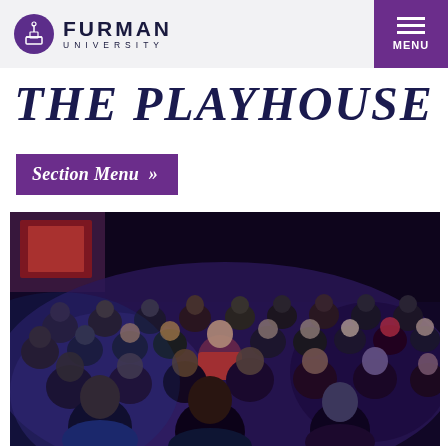Furman University — MENU
THE PLAYHOUSE
Section Menu >>
[Figure (photo): Audience members seated in a darkened theater, illuminated by stage lighting. A performer in a red outfit stands among the audience. The crowd includes people of various ages watching a performance.]